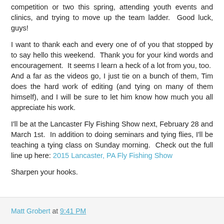competition or two this spring, attending youth events and clinics, and trying to move up the team ladder. Good luck, guys!
I want to thank each and every one of of you that stopped by to say hello this weekend. Thank you for your kind words and encouragement. It seems I learn a heck of a lot from you, too. And a far as the videos go, I just tie on a bunch of them, Tim does the hard work of editing (and tying on many of them himself), and I will be sure to let him know how much you all appreciate his work.
I'll be at the Lancaster Fly Fishing Show next, February 28 and March 1st. In addition to doing seminars and tying flies, I'll be teaching a tying class on Sunday morning. Check out the full line up here: 2015 Lancaster, PA Fly Fishing Show
Sharpen your hooks.
Matt Grobert at 9:41 PM